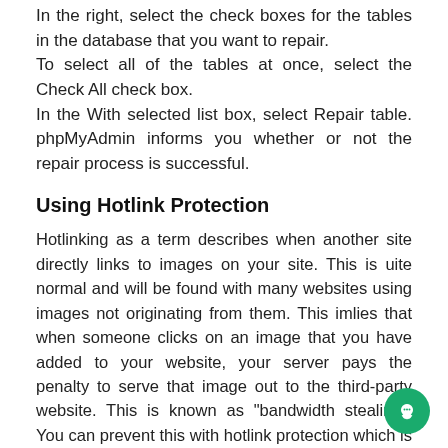In the right, select the check boxes for the tables in the database that you want to repair.
To select all of the tables at once, select the Check All check box.
In the With selected list box, select Repair table. phpMyAdmin informs you whether or not the repair process is successful.
Using Hotlink Protection
Hotlinking as a term describes when another site directly links to images on your site. This is uite normal and will be found with many websites using images not originating from them. This imlies that when someone clicks on an image that you have added to your website, your server pays the penalty to serve that image out to the third-party website. This is known as "bandwidth stealing." You can prevent this with hotlink protection which is easily enabled in your cPanel. Be sure to include your addon/parked/sub-domains in the 'allow' list so that all your sites function properly.
To enable hotlink protection, you need to login section of